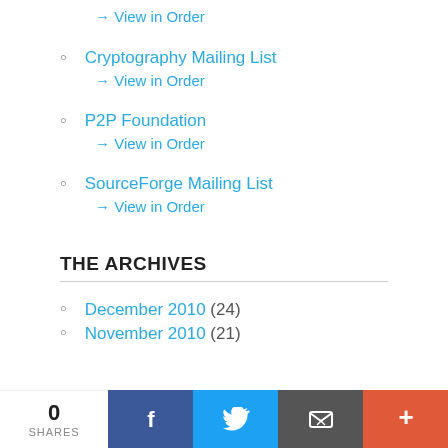→ View in Order
Cryptography Mailing List
→ View in Order
P2P Foundation
→ View in Order
SourceForge Mailing List
→ View in Order
THE ARCHIVES
December 2010 (24)
November 2010 (21)
0 SHARES | Facebook | Twitter | Email | +